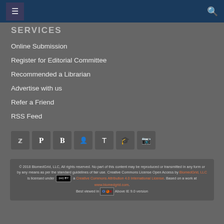Navigation header with hamburger menu and search icon
SERVICES (partial)
Online Submission
Register for Editorial Committee
Recommended a Librarian
Advertise with us
Refer a Friend
RSS Feed
[Figure (infographic): Social media icon buttons: Twitter, Pinterest, Blogger, Mendeley, Tumblr, Academia, Reddit]
© 2018 BiomedGrid, LLC, All rights reserved. No part of this content may be reproduced or transmitted in any form or by any means as per the standard guidelines of fair use. Creative Commons License Open Access by BiomedGrid, LLC is licensed under a Creative Commons Attribution 4.0 International License. Based on a work at www.biomedgrid.com. Best viewed in [browser icons] Above IE 9.0 version